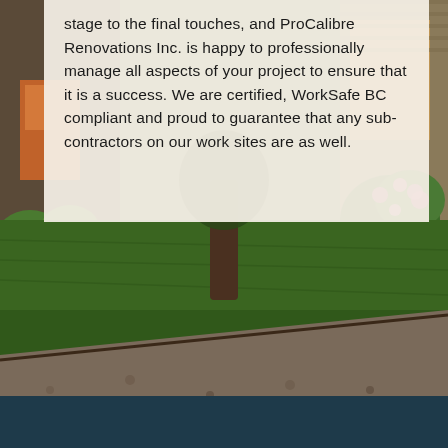[Figure (photo): Exterior photo of a house with a green lawn, pink flowering shrubs, gravel driveway in the foreground, and warm interior lighting visible through windows. Lower portion shows a gravel/pebble driveway with a dark teal footer bar at the bottom.]
stage to the final touches, and ProCalibre Renovations Inc. is happy to professionally manage all aspects of your project to ensure that it is a success. We are certified, WorkSafe BC compliant and proud to guarantee that any sub-contractors on our work sites are as well.